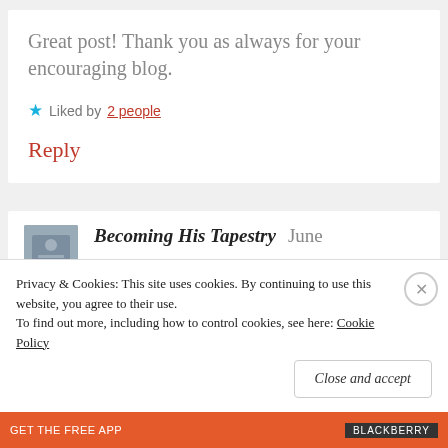Great post! Thank you as always for your encouraging blog.
★ Liked by 2 people
Reply
Becoming His Tapestry   June
Privacy & Cookies: This site uses cookies. By continuing to use this website, you agree to their use. To find out more, including how to control cookies, see here: Cookie Policy
Close and accept